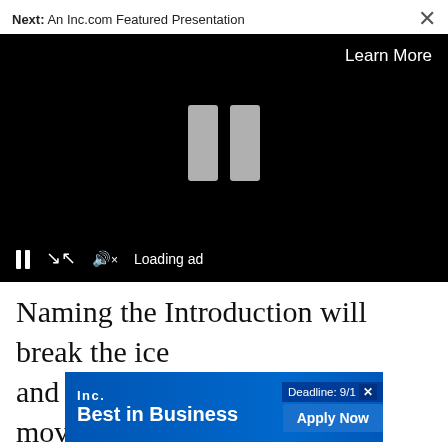Next: An Inc.com Featured Presentation
[Figure (screenshot): Video player with black background showing a paused ad. Center shows two large gray vertical bars (pause icon). Top right shows 'Learn More' text. Bottom control bar shows pause button, expand icon, muted speaker icon, and 'Loading ad' text.]
Naming the Introduction will break the ice and improve your chances of moving to the next steps. I've interviewed hundreds of people in
[Figure (screenshot): Inc. Best in Business advertisement banner. Blue background with Inc. logo on left, 'Best in Business' bold text, 'Deadline: 9/1' on right with 'Apply Now' button.]